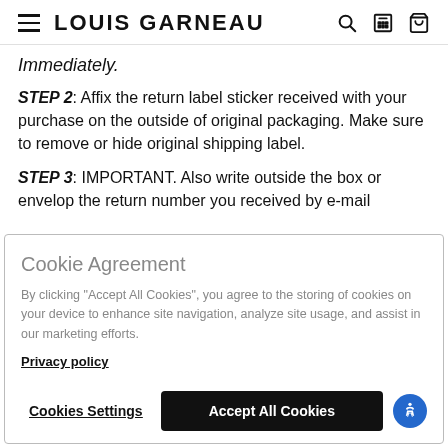LOUIS GARNEAU
Immediately.
STEP 2: Affix the return label sticker received with your purchase on the outside of original packaging. Make sure to remove or hide original shipping label.
STEP 3: IMPORTANT. Also write outside the box or envelop the return number you received by e-mail
Cookie Agreement
By clicking "Accept All Cookies", you agree to the storing of cookies on your device to enhance site navigation, analyze site usage, and assist in our marketing efforts.
Privacy policy
Cookies Settings
Accept All Cookies